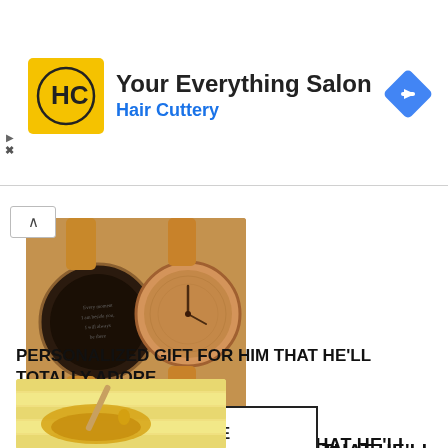[Figure (logo): Hair Cuttery advertisement banner with HC logo in yellow square, title 'Your Everything Salon', subtitle 'Hair Cuttery' in blue, and a blue diamond navigation icon on the right]
[Figure (photo): Two wooden watches with leather straps displayed together; one has an engraved dark face with text, the other has a natural wood face with hands]
PERSONALIZED GIFT FOR HIM THAT HE'LL TOTALLY ADORE
...
READ MORE
[Figure (photo): Honey dipper with dripping golden honey on a light wooden surface]